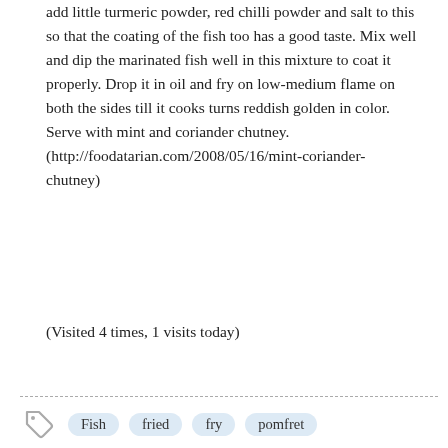add little turmeric powder, red chilli powder and salt to this so that the coating of the fish too has a good taste. Mix well and dip the marinated fish well in this mixture to coat it properly. Drop it in oil and fry on low-medium flame on both the sides till it cooks turns reddish golden in color. Serve with mint and coriander chutney. (http://foodatarian.com/2008/05/16/mint-coriander-chutney)
(Visited 4 times, 1 visits today)
Fish   fried   fry   pomfret
[Figure (other): Bottom section showing a light beige/cream background with a partial view of a grey avatar/profile icon at the bottom center]